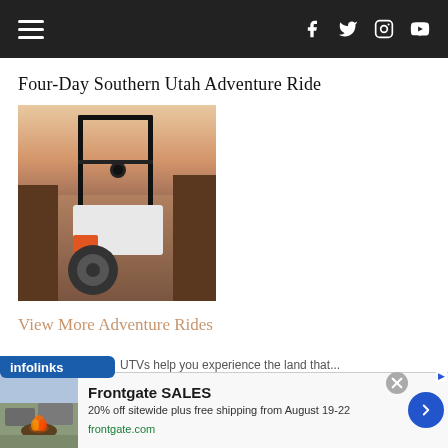Navigation header with hamburger menu and social icons (Facebook, Twitter, Instagram, YouTube)
Four-Day Southern Utah Adventure Ride
[Figure (photo): Close-up photo of an off-road UTV/SxS vehicle with roll cage, viewed from front-left side, desert canyon scenery in background with orange/pink sky]
View More Adventure Rides
ABOUT US
[Figure (infographic): Infolinks advertisement banner label in blue rounded rectangle]
[Figure (photo): Advertisement: Frontgate SALES - 20% off sitewide plus free shipping from August 19-22. frontgate.com. Shows outdoor patio furniture with fire pit.]